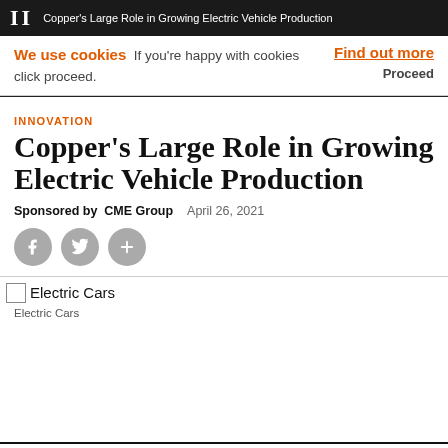II  Copper's Large Role in Growing Electric Vehicle Production
We use cookies  If you're happy with cookies click proceed.
Find out more  Proceed
INNOVATION
Copper's Large Role in Growing Electric Vehicle Production
Sponsored by  CME Group    April 26, 2021
[Figure (other): Social share icons: Facebook, Twitter, and a plus/more button]
[Figure (photo): Electric Cars image with broken image icon and alt text 'Electric Cars']
Electric Cars